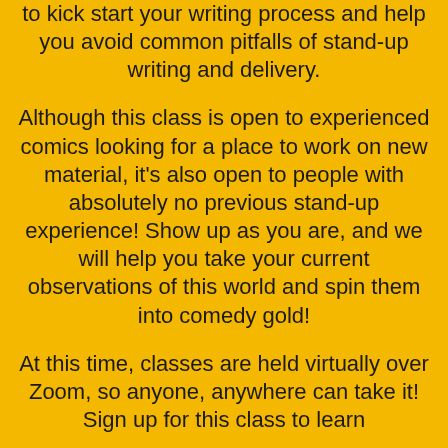to kick start your writing process and help you avoid common pitfalls of stand-up writing and delivery.
Although this class is open to experienced comics looking for a place to work on new material, it's also open to people with absolutely no previous stand-up experience! Show up as you are, and we will help you take your current observations of this world and spin them into comedy gold!
At this time, classes are held virtually over Zoom, so anyone, anywhere can take it! Sign up for this class to learn